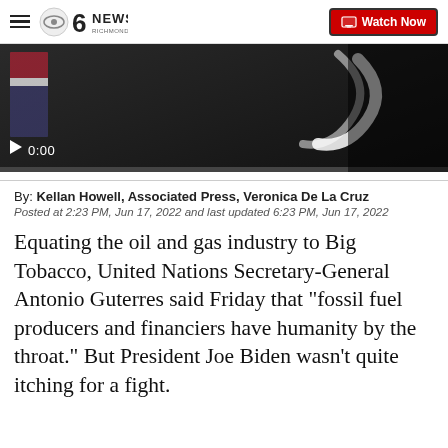CBS 6 NEWS Richmond — Watch Now
[Figure (screenshot): Dark video thumbnail showing a press conference scene with a flag visible on the left and a curved white graphic on the right. A play button and 0:00 timestamp are shown at the bottom left.]
By: Kellan Howell, Associated Press, Veronica De La Cruz
Posted at 2:23 PM, Jun 17, 2022 and last updated 6:23 PM, Jun 17, 2022
Equating the oil and gas industry to Big Tobacco, United Nations Secretary-General Antonio Guterres said Friday that "fossil fuel producers and financiers have humanity by the throat." But President Joe Biden wasn't quite itching for a fight.